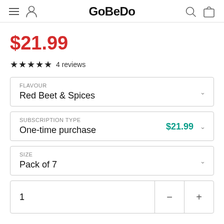GoBeDo
$21.99
★★★★★ 4 reviews
FLAVOUR
Red Beet & Spices
SUBSCRIPTION TYPE
One-time purchase $21.99
SIZE
Pack of 7
1